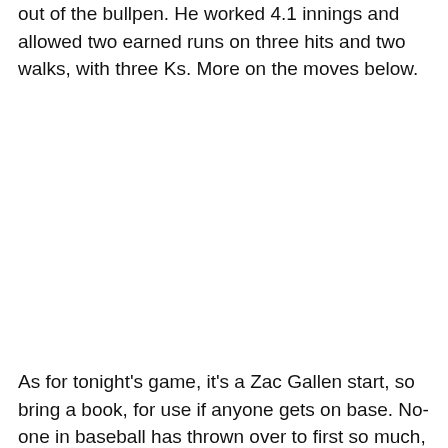out of the bullpen. He worked 4.1 innings and allowed two earned runs on three hits and two walks, with three Ks. More on the moves below.
As for tonight's game, it's a Zac Gallen start, so bring a book, for use if anyone gets on base. No-one in baseball has thrown over to first so much, and it's not